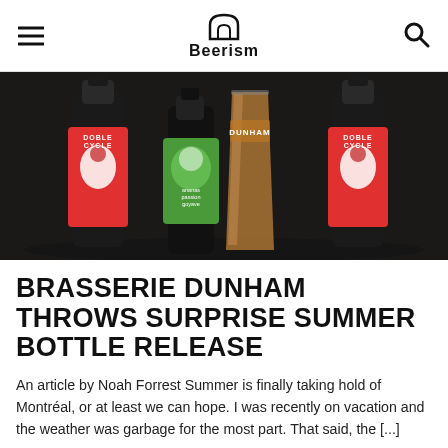Beerism
[Figure (photo): Beer bottles from Brasserie Dunham and another brewery arranged on a dark background, showing Doble Cycle label bottles (red with bird illustration) and a Dunham glass filled with golden beer, plus a green tropical-labeled bottle in the center.]
BRASSERIE DUNHAM THROWS SURPRISE SUMMER BOTTLE RELEASE
An article by Noah Forrest Summer is finally taking hold of Montréal, or at least we can hope. I was recently on vacation and the weather was garbage for the most part. That said, the [...]